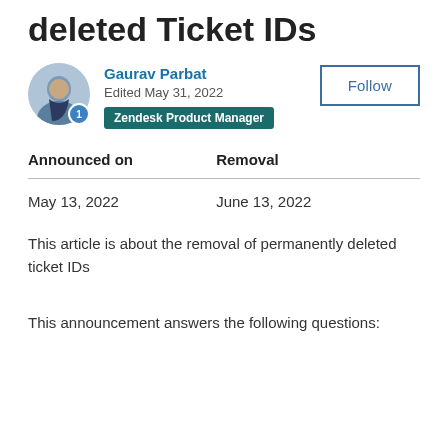deleted Ticket IDs
Gaurav Parbat
Edited May 31, 2022
Zendesk Product Manager
| Announced on | Removal |
| --- | --- |
| May 13, 2022 | June 13, 2022 |
This article is about the removal of permanently deleted ticket IDs
This announcement answers the following questions: